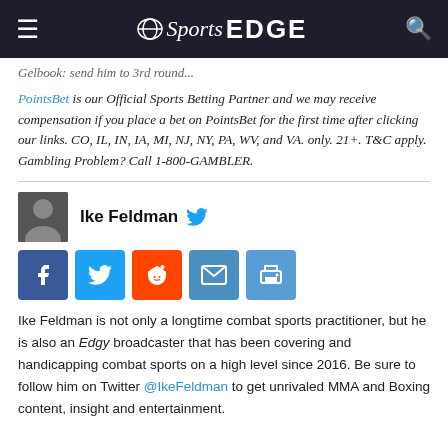NBC Sports EDGE
Gelb... send him to 3rd round...
PointsBet is our Official Sports Betting Partner and we may receive compensation if you place a bet on PointsBet for the first time after clicking our links. CO, IL, IN, IA, MI, NJ, NY, PA, WV, and VA. only. 21+. T&C apply. Gambling Problem? Call 1-800-GAMBLER.
Ike Feldman
Ike Feldman is not only a longtime combat sports practitioner, but he is also an Edgy broadcaster that has been covering and handicapping combat sports on a high level since 2016. Be sure to follow him on Twitter @IkeFeldman to get unrivaled MMA and Boxing content, insight and entertainment.